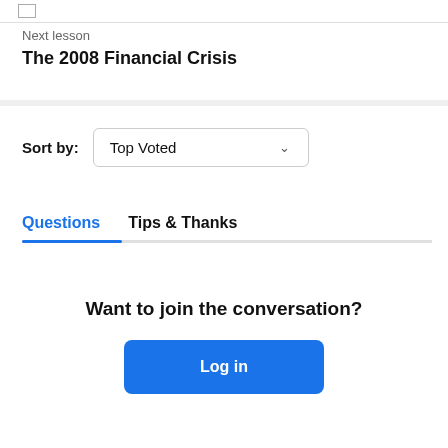Next lesson
The 2008 Financial Crisis
Sort by: Top Voted
Questions	Tips & Thanks
Want to join the conversation?
Log in